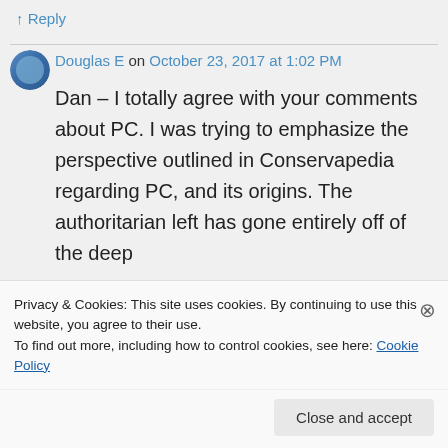↑ Reply
Douglas E on October 23, 2017 at 1:02 PM
Dan – I totally agree with your comments about PC. I was trying to emphasize the perspective outlined in Conservapedia regarding PC, and its origins. The authoritarian left has gone entirely off of the deep
Privacy & Cookies: This site uses cookies. By continuing to use this website, you agree to their use.
To find out more, including how to control cookies, see here: Cookie Policy
Close and accept